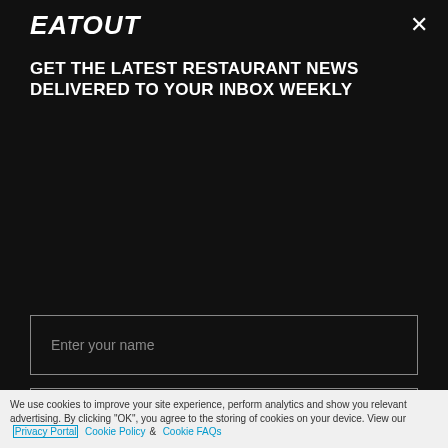EAT OUT
GET THE LATEST RESTAURANT NEWS DELIVERED TO YOUR INBOX WEEKLY
[Figure (screenshot): Email newsletter signup form with name field, email field, sign up button, and promotional newsletter checkbox]
We use cookies to improve your site experience, perform analytics and show you relevant advertising. By clicking "OK", you agree to the storing of cookies on your device. View our Privacy Portal Cookie Policy & Cookie FAQs